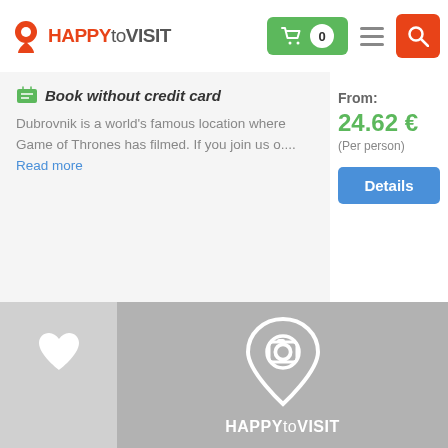[Figure (logo): HAPPYtoVISIT logo with map pin icon in orange/red]
[Figure (screenshot): Shopping cart button (green) with 0, hamburger menu, and search button (orange-red) in navbar]
Book without credit card
Dubrovnik is a world's famous location where Game of Thrones has filmed. If you join us o.... Read more
From: 24.62 € (Per person)
Details
[Figure (illustration): HAPPYtoVISIT image placeholder with camera-pin icon and brand name in white on grey background]